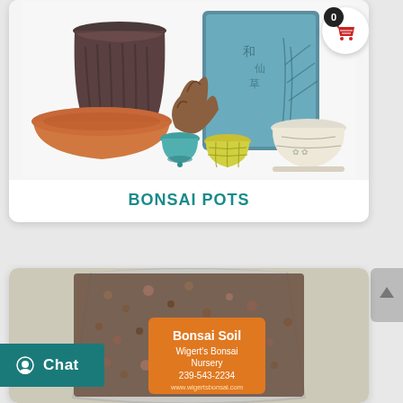[Figure (photo): Product image of assorted bonsai pots: dark brown fluted pot, teal/blue square pot with Asian calligraphy, terracotta shallow bowl, small turquoise pot, yellow basket weave pot, white decorative rectangular pot, and a wood/driftwood piece]
BONSAI POTS
[Figure (photo): Product image of a clear plastic bag of bonsai soil/gravel with an orange label reading: Bonsai Soil, Wigert's Bonsai Nursery, 239-543-2234, www.wigertsbonsai.com]
Chat